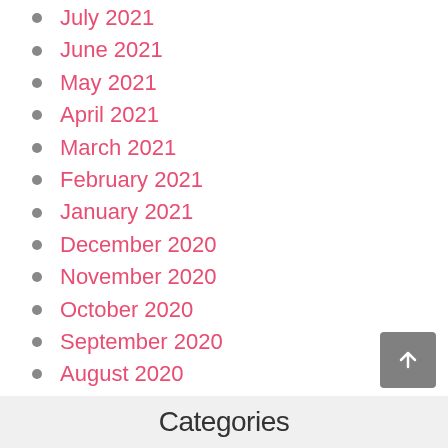July 2021
June 2021
May 2021
April 2021
March 2021
February 2021
January 2021
December 2020
November 2020
October 2020
September 2020
August 2020
May 2020
April 2020
March 2020
January 2020
Categories